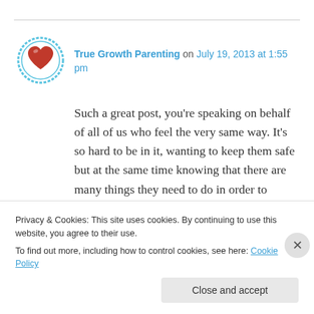[Figure (logo): Circular avatar icon with blue decorative border and red heart in center, representing True Growth Parenting user avatar]
True Growth Parenting on July 19, 2013 at 1:55 pm
Such a great post, you’re speaking on behalf of all of us who feel the very same way. It’s so hard to be in it, wanting to keep them safe but at the same time knowing that there are many things they need to do in order to experience it for themselves. Everyone gets what they need when you send them off with other trusted adults! I love that you ‘check out their
Privacy & Cookies: This site uses cookies. By continuing to use this website, you agree to their use.
To find out more, including how to control cookies, see here: Cookie Policy
Close and accept